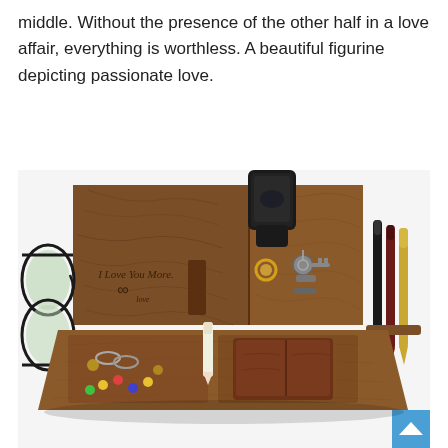middle. Without the presence of the other half in a love affair, everything is worthless. A beautiful figurine depicting passionate love.
[Figure (photo): A wooden desk organizer/docking station with engraved text 'I Love You More.' with an infinity symbol and 'love'. The organizer holds glasses, a smartwatch, keys, a ring, pens, a brown leather wallet, paper clips, thumbtacks, and other accessories. A blue scroll-to-top button is visible in the bottom right corner.]